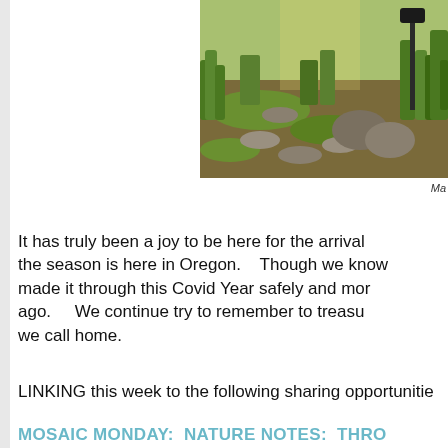[Figure (photo): Outdoor garden path with stepping stones, moss, green plants, and a lamp post in sunlight]
Ma
It has truly been a joy to be here for the arrival the season is here in Oregon.    Though we know made it through this Covid Year safely and mo ago.     We continue try to remember to treasu we call home.
LINKING this week to the following sharing opportunitie
MOSAIC MONDAY: NATURE NOTES: THRO